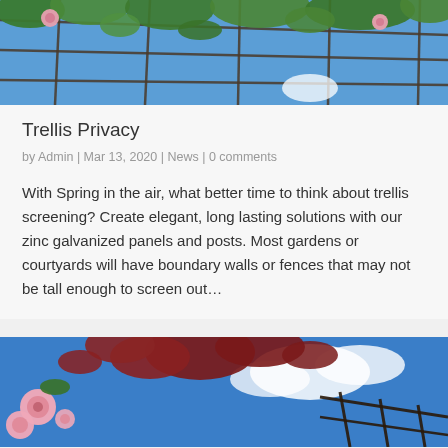[Figure (photo): Photo of trellis with pink roses and green leaves against blue sky, viewed from below]
Trellis Privacy
by Admin | Mar 13, 2020 | News | 0 comments
With Spring in the air, what better time to think about trellis screening? Create elegant, long lasting solutions with our zinc galvanized panels and posts. Most gardens or courtyards will have boundary walls or fences that may not be tall enough to screen out…
[Figure (photo): Photo of pink roses and dark red leaves against blue sky with white clouds, and a trellis fence visible at lower right]